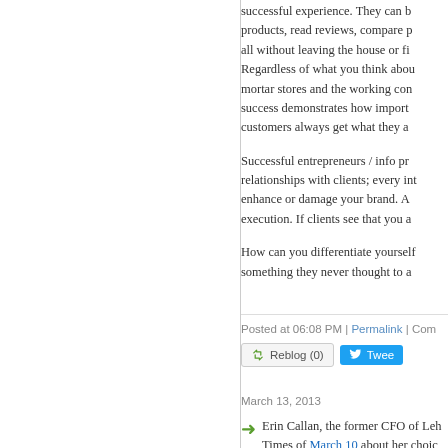successful experience. They can b... products, read reviews, compare p... all without leaving the house or fi... Regardless of what you think abou... mortar stores and the working con... success demonstrates how import... customers always get what they a...
Successful entrepreneurs / info pr... relationships with clients; every int... enhance or damage your brand. A... execution. If clients see that you a...
How can you differentiate yourself... something they never thought to a...
Posted at 06:08 PM | Permalink | Com...
Reblog (0)   Tweet
March 13, 2013
Erin Callan, the former CFO of Leh... Times of March 10 about her choic...
I didn't start out with the go... job. It crept in over time. [... was versus what I did. Wha... the best times in my career... I had achieved any sort of ...